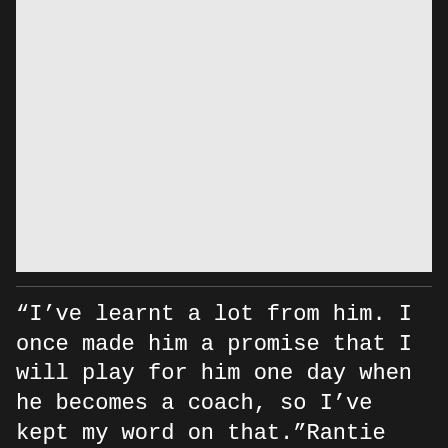[Figure (photo): A light gray rectangular photo placeholder area at the top of the page]
“I’ve learnt a lot from him. I once made him a promise that I will play for him one day when he becomes a coach, so I’ve kept my word on that.”Rantie came through the Stars of Africa Academy and initially played his football in